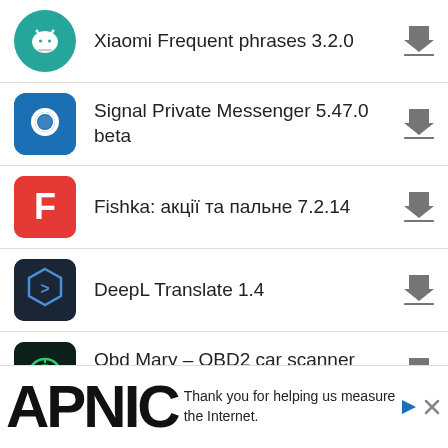Xiaomi Frequent phrases 3.2.0
Signal Private Messenger 5.47.0 beta
Fishka: акції та пальне 7.2.14
DeepL Translate 1.4
Obd Mary – OBD2 car scanner 1.170
monobank – банк у смартфоні 1.41.2
[Figure (screenshot): APNIC advertisement banner with logo and text 'Thank you for helping us measure the Internet.']